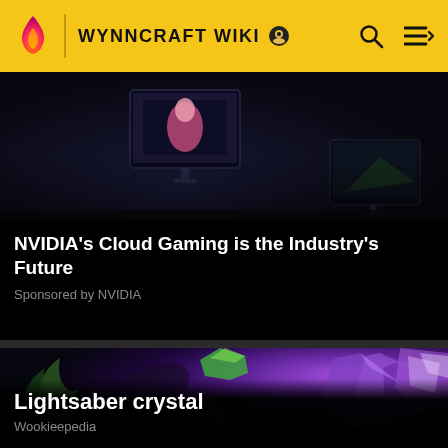WYNNCRAFT WIKI
[Figure (screenshot): Dark screenshot showing gaming environment with monitors, representing NVIDIA cloud gaming]
NVIDIA’s Cloud Gaming is the Industry’s Future
Sponsored by NVIDIA
[Figure (illustration): Dark fantasy illustration with glowing purple crystals, green plants and foliage, representing a Lightsaber crystal]
Lightsaber crystal
Wookieepedia